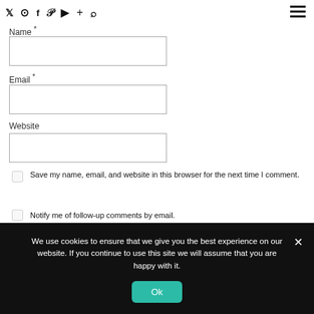Social media icons and navigation header
Name *
[Figure (screenshot): Name input text field]
Email *
[Figure (screenshot): Email input text field]
Website
[Figure (screenshot): Website input text field]
Save my name, email, and website in this browser for the next time I comment.
Notify me of follow-up comments by email.
Notify me of new posts by email.
We use cookies to ensure that we give you the best experience on our website. If you continue to use this site we will assume that you are happy with it.